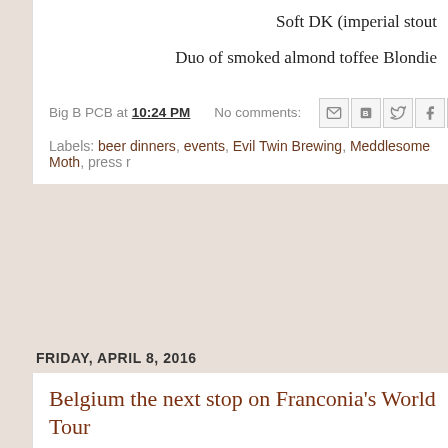Soft DK (imperial stout
Duo of smoked almond toffee Blondie
Big B PCB at 10:24 PM   No comments:
Labels: beer dinners, events, Evil Twin Brewing, Meddlesome Moth, press r
FRIDAY, APRIL 8, 2016
Belgium the next stop on Franconia's World Tour
[Figure (photo): Yellow Franconia Belgium beer label with barcode on left, map silhouette, and BELGIUM text on arrow badge with FRANCONIA text below]